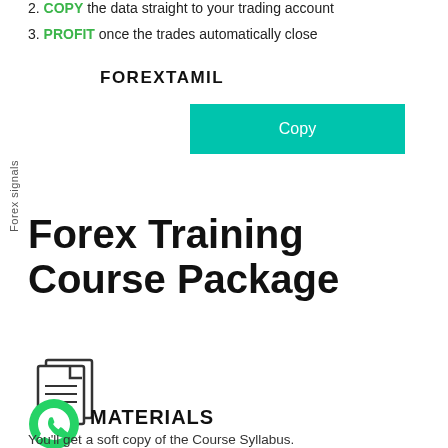2. COPY the data straight to your trading account
3. PROFIT once the trades automatically close
FOREXTAMIL
[Figure (other): Teal/turquoise Copy button]
Forex signals
Forex Training Course Package
[Figure (illustration): Document/pages icon]
[Figure (logo): WhatsApp green icon]
MATERIALS
You'll get a soft copy of the Course Syllabus.